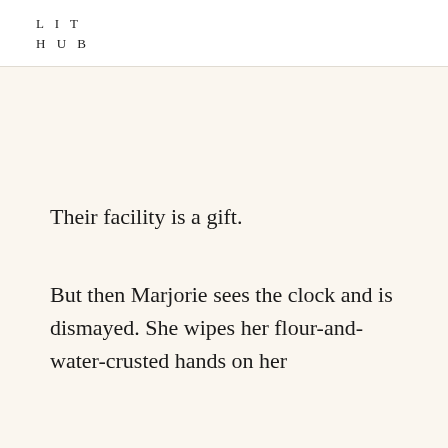LIT
HUB
Their facility is a gift.
But then Marjorie sees the clock and is dismayed. She wipes her flour-and-water-crusted hands on her